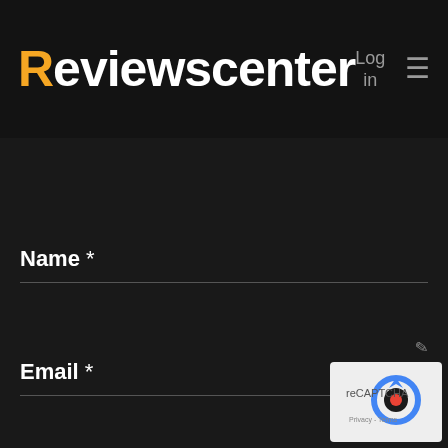Reviewscenter — Log in ≡
Name *
Email *
[Figure (logo): reCAPTCHA badge with blue arrow logo and privacy/terms text]